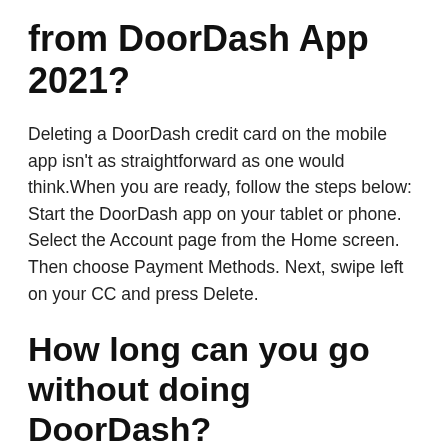from DoorDash App 2021?
Deleting a DoorDash credit card on the mobile app isn't as straightforward as one would think.When you are ready, follow the steps below: Start the DoorDash app on your tablet or phone. Select the Account page from the Home screen. Then choose Payment Methods. Next, swipe left on your CC and press Delete.
How long can you go without doing DoorDash?
As long as you're in good standing (i.e. good ratings in the app) you should be ok. But, if you do want or need to take more than a week off (vacation, illness, injury, etc.) you should reach out to Doordash support (via the app)